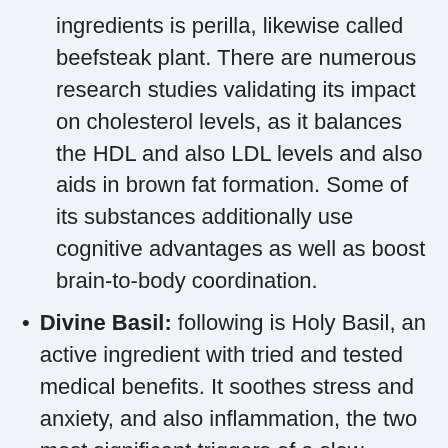ingredients is perilla, likewise called beefsteak plant. There are numerous research studies validating its impact on cholesterol levels, as it balances the HDL and also LDL levels and also aids in brown fat formation. Some of its substances additionally use cognitive advantages as well as boost brain-to-body coordination.
Divine Basil: following is Holy Basil, an active ingredient with tried and tested medical benefits. It soothes stress and anxiety, and also inflammation, the two most significant triggers of a slow metabolism. Exipure Port St. Lucie Florida It additionally gets rid of the body from contaminants, waste products, and also cellular waste, maintaining excellent metabolic conditions for the body.